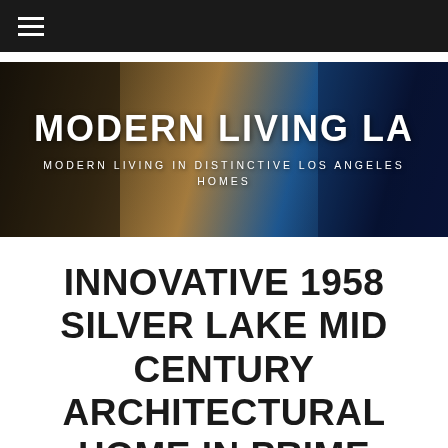☰ (navigation menu)
[Figure (photo): Hero banner photo of a modern interior/exterior home at dusk with city lights visible, overlaid with site title and tagline]
MODERN LIVING LA
MODERN LIVING IN DISTINCTIVE LOS ANGELES HOMES
INNOVATIVE 1958 SILVER LAKE MID CENTURY ARCHITECTURAL HOME IN PRIME LOCATION